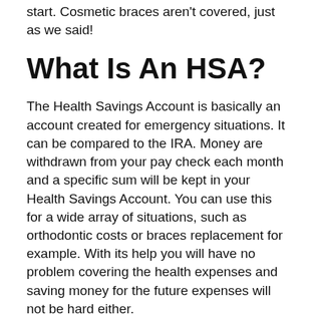start. Cosmetic braces aren't covered, just as we said!
What Is An HSA?
The Health Savings Account is basically an account created for emergency situations. It can be compared to the IRA. Money are withdrawn from your pay check each month and a specific sum will be kept in your Health Savings Account. You can use this for a wide array of situations, such as orthodontic costs or braces replacement for example. With its help you will have no problem covering the health expenses and saving money for the future expenses will not be hard either.
Maybe the main benefit of an HSA is that the